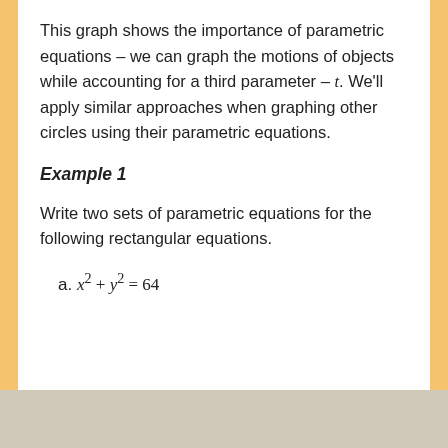This graph shows the importance of parametric equations – we can graph the motions of objects while accounting for a third parameter – t. We'll apply similar approaches when graphing other circles using their parametric equations.
Example 1
Write two sets of parametric equations for the following rectangular equations.